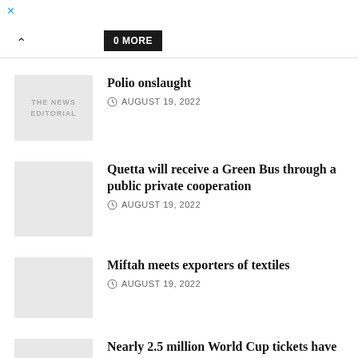MORE
Polio onslaught
AUGUST 19, 2022
Quetta will receive a Green Bus through a public private cooperation
AUGUST 19, 2022
Miftah meets exporters of textiles
AUGUST 19, 2022
Nearly 2.5 million World Cup tickets have been sold
AUGUST 19, 2022